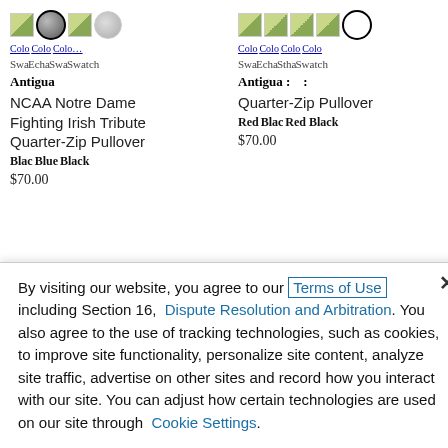[Figure (screenshot): Product listing page showing two NCAA Notre Dame Fighting Irish Tribute Quarter-Zip Pullover items with color swatches and overlapping UI elements]
By visiting our website, you agree to our Terms of Use including Section 16, Dispute Resolution and Arbitration. You also agree to the use of tracking technologies, such as cookies, to improve site functionality, personalize site content, analyze site traffic, advertise on other sites and record how you interact with our site. You can adjust how certain technologies are used on our site through Cookie Settings.